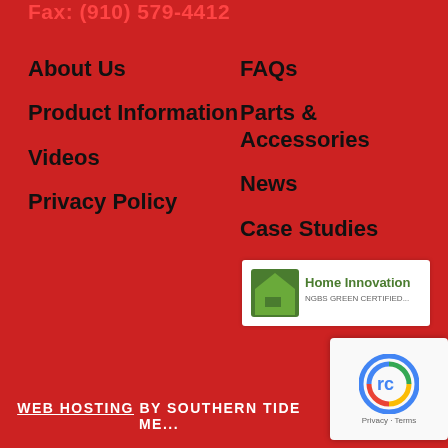Fax: (910) 579-4412
About Us
Product Information
Videos
Privacy Policy
FAQs
Parts & Accessories
News
Case Studies
[Figure (logo): Home Innovation NGBS Green Certified logo on white background]
[Figure (logo): reCAPTCHA badge with Privacy and Terms links]
WEB HOSTING BY SOUTHERN TIDE ME...